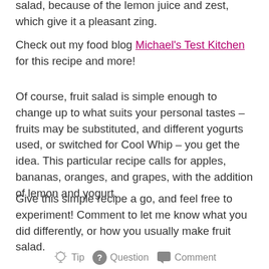salad, because of the lemon juice and zest, which give it a pleasant zing.
Check out my food blog Michael's Test Kitchen for this recipe and more!
Of course, fruit salad is simple enough to change up to what suits your personal tastes – fruits may be substituted, and different yogurts used, or switched for Cool Whip – you get the idea. This particular recipe calls for apples, bananas, oranges, and grapes, with the addition of lemon and yogurt.
Give this simple recipe a go, and feel free to experiment! Comment to let me know what you did differently, or how you usually make fruit salad.
Tip   Question   Comment